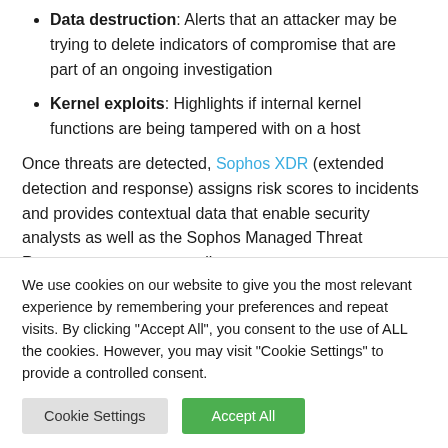Data destruction: Alerts that an attacker may be trying to delete indicators of compromise that are part of an ongoing investigation
Kernel exploits: Highlights if internal kernel functions are being tampered with on a host
Once threats are detected, Sophos XDR (extended detection and response) assigns risk scores to incidents and provides contextual data that enable security analysts as well as the Sophos Managed Threat Response team to streamline
We use cookies on our website to give you the most relevant experience by remembering your preferences and repeat visits. By clicking "Accept All", you consent to the use of ALL the cookies. However, you may visit "Cookie Settings" to provide a controlled consent.